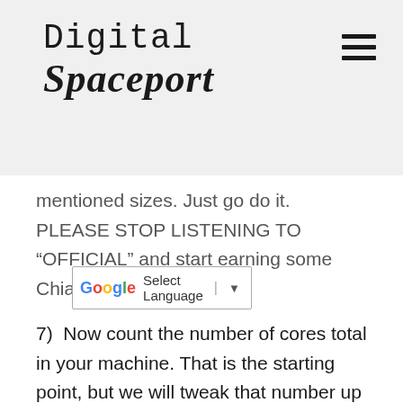Digital Spaceport
[Figure (other): Google Translate widget with 'Select Language' dropdown and arrow button]
mentioned sizes. Just go do it. PLEASE STOP LISTENING TO “OFFICIAL” and start earning some Chia now.
7)  Now count the number of cores total in your machine. That is the starting point, but we will tweak that number up by a lot. Those 36 plots which I am tweaking up to 40 are running on dual 2667 v2 processors. I started at 24 and have been tweaking it up to currently 36 and plan on ending up